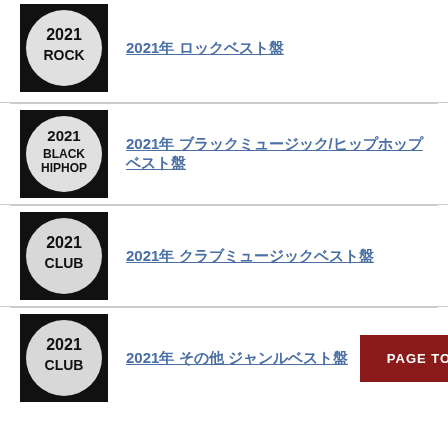[Figure (logo): 2021 ROCK circular badge, black and white]
2021年 ロックベスト盤
[Figure (logo): 2021 BLACK HIPHOP circular badge, black and white]
2021年 ブラックミュージック/ヒップホップベスト盤
[Figure (logo): 2021 CLUB circular badge, black and white]
2021年 クラブミュージックベスト盤
[Figure (logo): 2021 CLUB circular badge, black and white]
2021年 その他 ジャンルベスト盤